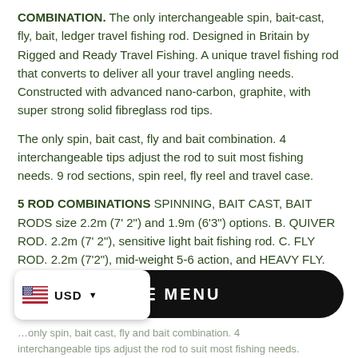COMBINATION. The only interchangeable spin, bait-cast, fly, bait, ledger travel fishing rod. Designed in Britain by Rigged and Ready Travel Fishing. A unique travel fishing rod that converts to deliver all your travel angling needs. Constructed with advanced nano-carbon, graphite, with super strong solid fibreglass rod tips.
The only spin, bait cast, fly and bait combination. 4 interchangeable tips adjust the rod to suit most fishing needs. 9 rod sections, spin reel, fly reel and travel case.
5 ROD COMBINATIONS SPINNING, BAIT CAST, BAIT RODS size 2.2m (7' 2") and 1.9m (6'3") options. B. QUIVER ROD. 2.2m (7' 2"), sensitive light bait fishing rod. C. FLY ROD. 2.2m (7'2"), mid-weight 5-6 action, and HEAVY FLY. 1.9m (6' 3") 6-7 weight.
[Figure (screenshot): Navigation bar with hamburger menu icon and MENU text on black rounded rectangle background, with USD currency selector showing US flag]